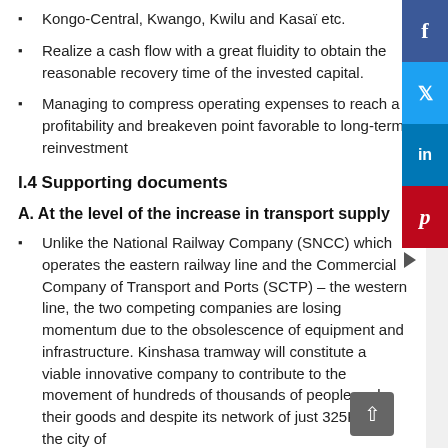Kongo-Central, Kwango, Kwilu and Kasaï etc.
Realize a cash flow with a great fluidity to obtain the reasonable recovery time of the invested capital.
Managing to compress operating expenses to reach a profitability and breakeven point favorable to long-term reinvestment
I.4 Supporting documents
A. At the level of the increase in transport supply
Unlike the National Railway Company (SNCC) which operates the eastern railway line and the Commercial Company of Transport and Ports (SCTP) – the western line, the two competing companies are losing momentum due to the obsolescence of equipment and infrastructure. Kinshasa tramway will constitute a viable innovative company to contribute to the movement of hundreds of thousands of people and their goods and despite its network of just 325Km in the city of